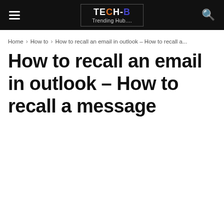TECH-B Trending Hub....
Home › How to › How to recall an email in outlook – How to recall a...
How to recall an email in outlook – How to recall a message